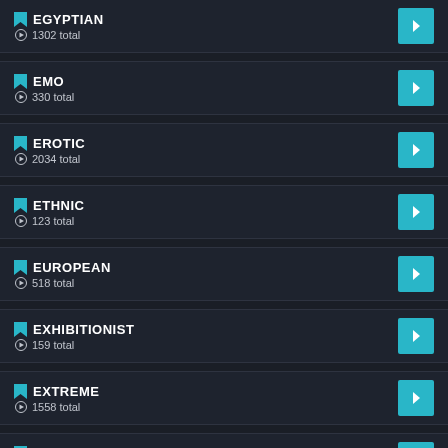EGYPTIAN — 1302 total
EMO — 330 total
EROTIC — 2034 total
ETHNIC — 123 total
EUROPEAN — 518 total
EXHIBITIONIST — 159 total
EXTREME — 1558 total
FACESITTING — 1129 total